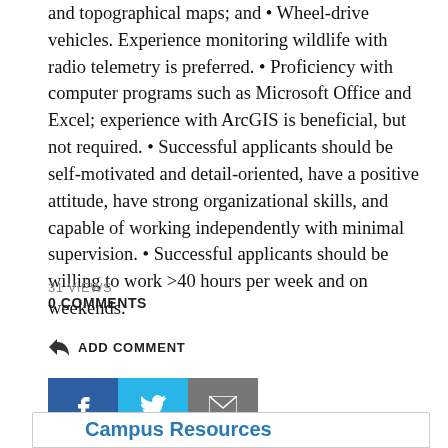and topographical maps; and • Wheel-drive vehicles. Experience monitoring wildlife with radio telemetry is preferred. • Proficiency with computer programs such as Microsoft Office and Excel; experience with ArcGIS is beneficial, but not required. • Successful applicants should be self-motivated and detail-oriented, have a positive attitude, have strong organizational skills, and capable of working independently with minimal supervision. • Successful applicants should be willing to work >40 hours per week and on weekends.
31 VIEWS
0 COMMENTS
ADD COMMENT
[Figure (other): Three social sharing buttons: Facebook (dark blue, f icon), Twitter (light blue, bird icon), Email (gray, envelope icon)]
Campus Resources